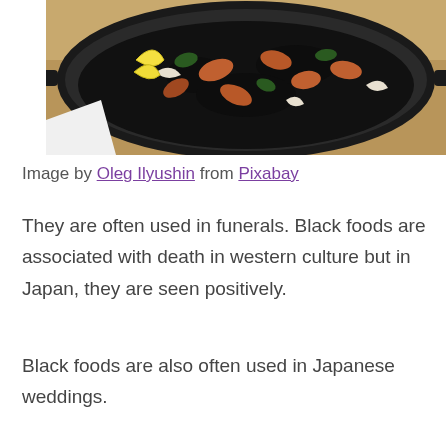[Figure (photo): A dark paella dish with black squid ink rice, mussels, seafood, and lemon wedges on a woven mat]
Image by Oleg Ilyushin from Pixabay
They are often used in funerals. Black foods are associated with death in western culture but in Japan, they are seen positively.
Black foods are also often used in Japanese weddings.